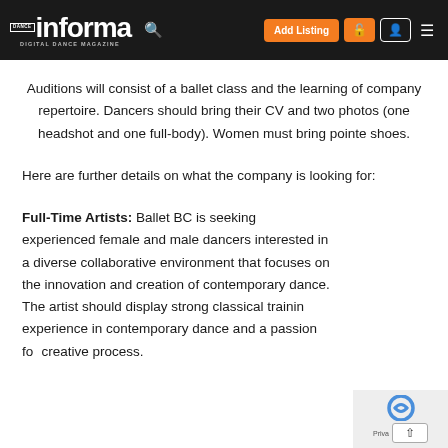Dance Informa – Digital Dance Magazine | Add Listing | Navigation
Auditions will consist of a ballet class and the learning of company repertoire. Dancers should bring their CV and two photos (one headshot and one full-body). Women must bring pointe shoes.
Here are further details on what the company is looking for:
Full-Time Artists: Ballet BC is seeking experienced female and male dancers interested in a diverse collaborative environment that focuses on the innovation and creation of contemporary dance. The artist should display strong classical training experience in contemporary dance and a passion for the creative process.